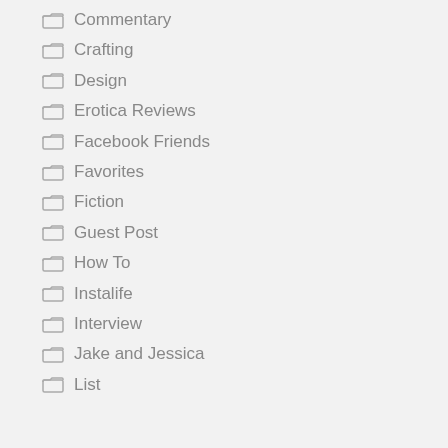Commentary
Crafting
Design
Erotica Reviews
Facebook Friends
Favorites
Fiction
Guest Post
How To
Instalife
Interview
Jake and Jessica
List